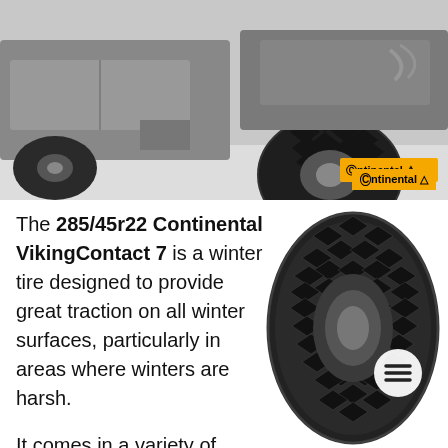[Figure (photo): Close-up photo of a black SUV with Continental winter tires on a snowy surface. The Continental logo badge is visible in the bottom-right corner of the image.]
The 285/45r22 Continental VikingContact 7 is a winter tire designed to provide great traction on all winter surfaces, particularly in areas where winters are harsh.
[Figure (photo): Close-up photo of a Continental VikingContact 7 winter tire tread pattern, showing the distinctive diamond/chevron pattern. A circular menu button (hamburger icon) is overlaid on the tire image.]
It comes in a variety of sizes,